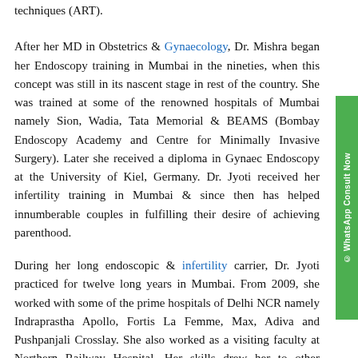techniques (ART).
After her MD in Obstetrics & Gynaecology, Dr. Mishra began her Endoscopy training in Mumbai in the nineties, when this concept was still in its nascent stage in rest of the country. She was trained at some of the renowned hospitals of Mumbai namely Sion, Wadia, Tata Memorial & BEAMS (Bombay Endoscopy Academy and Centre for Minimally Invasive Surgery). Later she received a diploma in Gynaec Endoscopy at the University of Kiel, Germany. Dr. Jyoti received her infertility training in Mumbai & since then has helped innumberable couples in fulfilling their desire of achieving parenthood.
During her long endoscopic & infertility carrier, Dr. Jyoti practiced for twelve long years in Mumbai. From 2009, she worked with some of the prime hospitals of Delhi NCR namely Indraprastha Apollo, Fortis La Femme, Max, Adiva and Pushpanjali Crosslay. She also worked as a visiting faculty at Northern Railway Hospital. Her skills drew her to other nations, as she was a visiting consultant at hospitals in Dubai & Nepal.